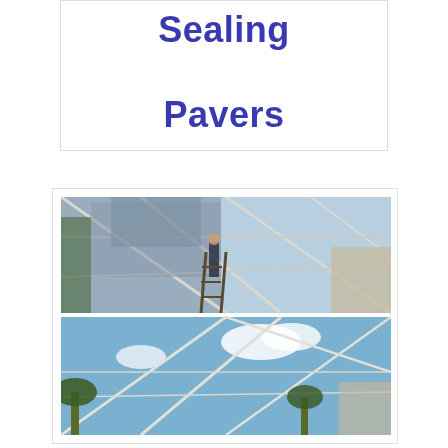Sealing Pavers
[Figure (photo): Two photos of a pool screen enclosure. Top photo shows a worker on a ladder installing or repairing screen mesh on the aluminum frame of a lanai enclosure, with large sheets of screen material being worked on. Bottom photo shows a view looking up through a pool screen enclosure with aluminum framing against a blue sky with clouds, and palm trees visible through the screen.]